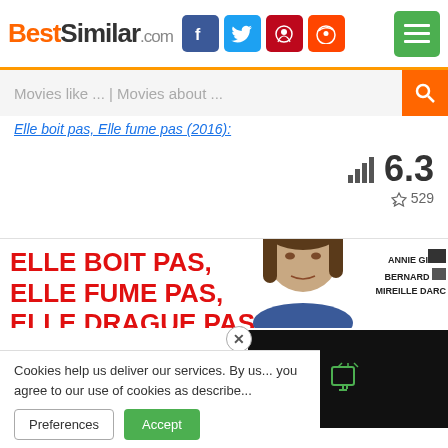BestSimilar.com
Movies like ... | Movies about ...
Elle boit pas, Elle fume pas (2016):
6.3 rating, 529 likes
[Figure (photo): Movie poster for a French film with red bold text reading: ELLE BOIT PAS, ELLE FUME PAS, ELLE DRAGUE PAS, MAIS... ELLE CAUSE! with a woman's face visible on the right side and actor credits ANNIE GIR, BERNARD BLIER, MIREILLE DARC]
Cookies help us deliver our services. By us... you agree to our use of cookies as describe...
Preferences  Accept